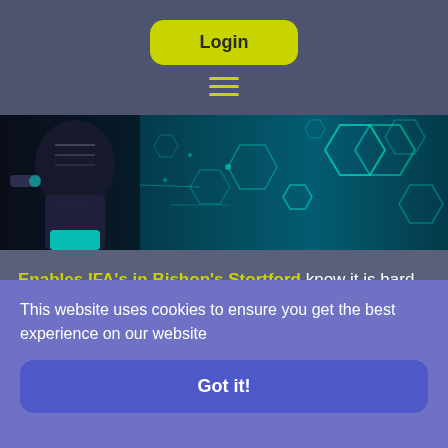Login
[Figure (screenshot): Robot/AI figure on left with glowing cyan hexagon network pattern on dark teal/blue background hero image]
Enables IFA's in Bishop's Stortford know it is hard to predict the future for investments but if you believe
This website uses cookies to ensure you get the best experience on our website
Got it!